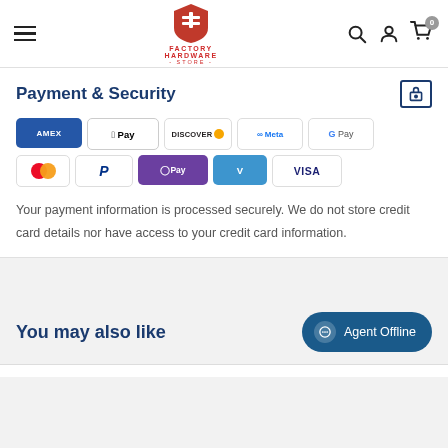Factory Hardware Store - navigation header with logo, hamburger menu, search, account, and cart icons
Payment & Security
[Figure (infographic): Payment method logos: Amex, Apple Pay, Discover, Meta Pay, Google Pay, Mastercard, PayPal, OPay, Venmo, Visa]
Your payment information is processed securely. We do not store credit card details nor have access to your credit card information.
You may also like
Agent Offline